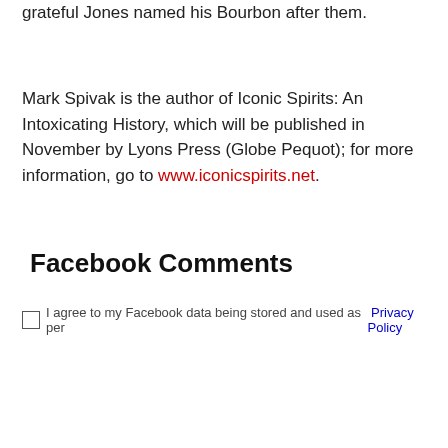grateful Jones named his Bourbon after them.
Mark Spivak is the author of Iconic Spirits: An Intoxicating History, which will be published in November by Lyons Press (Globe Pequot); for more information, go to www.iconicspirits.net.
Facebook Comments
I agree to my Facebook data being stored and used as per Privacy Policy